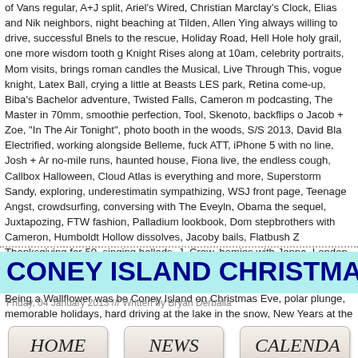of Vans regular, A+J split, Ariel's Wired, Christian Marclay's Clock, Elias and Nik neighbors, night beaching at Tilden, Allen Ying always willing to drive, successful Bnels to the rescue, Holiday Road, Hell Hole holy grail, one more wisdom tooth g Knight Rises along at 10am, celebrity portraits, Mom visits, brings roman candles the Musical, Live Through This, vogue knight, Latex Ball, crying a little at Beasts LES park, Retina come-up, Biba's Bachelor adventure, Twisted Falls, Cameron m podcasting, The Master in 70mm, smoothie perfection, Tool, Skenoto, backflips o Jacob + Zoe, "In The Air Tonight", photo booth in the woods, S/S 2013, David Bla Electrified, working alongside Belleme, fuck ATT, iPhone 5 with no line, Josh + Ar no-mile runs, haunted house, Fiona live, the endless cough, Callbox Halloween, Cloud Atlas is everything and more, Superstorm Sandy, exploring, underestimatin sympathizing, WSJ front page, Teenage Angst, crowdsurfing, conversing with The Eveyln, Obama the sequel, Juxtapozing, FTW fashion, Palladium lookbook, Dom stepbrothers with Cameron, Humboldt Hollow dissolves, Jacoby bails, Flatbush Z Thanksgiving for 50, singing ballads, J. Crew, homies with Jenna, London, finally Ireland, Cliffs of Moher, traditional Irish music, Jansport x Benny Gold round 2, Ca Smashing Pumpkins at Barclays, gun control, Perks of Being a Wallflower was be Coney Island on Christmas Eve, polar plunge, memorable holidays, hard driving at the lake in the snow, New Years at the motel.
CONEY ISLAND CHRISTMAS E
Friday, 04 January 2013 /// Written by Bryan Derbalia
HOME
NEWS
CALENDA